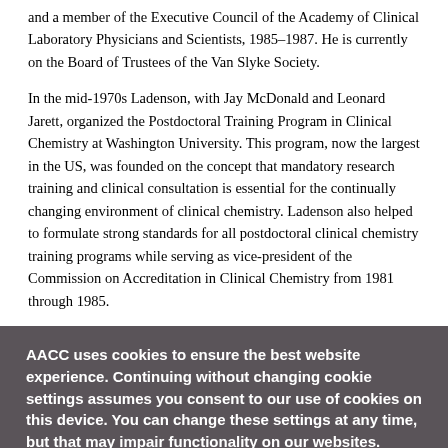and a member of the Executive Council of the Academy of Clinical Laboratory Physicians and Scientists, 1985–1987. He is currently on the Board of Trustees of the Van Slyke Society.
In the mid-1970s Ladenson, with Jay McDonald and Leonard Jarett, organized the Postdoctoral Training Program in Clinical Chemistry at Washington University. This program, now the largest in the US, was founded on the concept that mandatory research training and clinical consultation is essential for the continually changing environment of clinical chemistry. Ladenson also helped to formulate strong standards for all postdoctoral clinical chemistry training programs while serving as vice-president of the Commission on Accreditation in Clinical Chemistry from 1981 through 1985.
AACC uses cookies to ensure the best website experience. Continuing without changing cookie settings assumes you consent to our use of cookies on this device. You can change these settings at any time, but that may impair functionality on our websites. Review our cookie and privacy policy